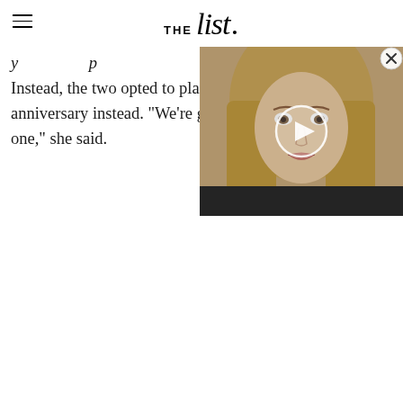THE list
Instead, the two opted to pla... anniversary instead. "We're g... one," she said.
[Figure (photo): Video thumbnail showing a blonde woman (Melania Trump) with a play button overlay, with a close button in the corner]